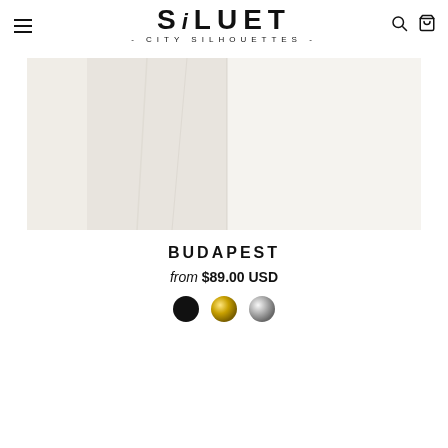SILUET - CITY SILHOUETTES -
[Figure (photo): Close-up product photo of a white/cream colored item on a light background]
BUDAPEST
from $89.00 USD
[Figure (other): Three color swatches: black, gold, silver]